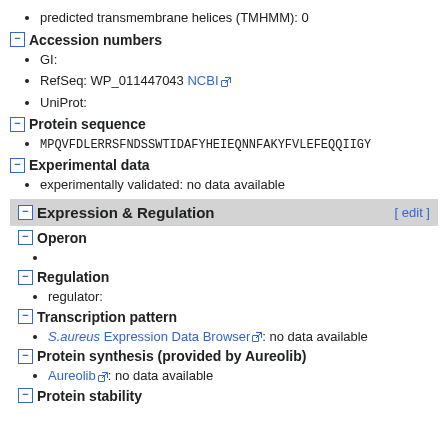predicted transmembrane helices (TMHMM): 0
Accession numbers
GI:
RefSeq: WP_011447043 NCBI
UniProt:
Protein sequence
MPQVFDLERRSFNDSSWTIDAFYHEIEQNNFAKYFVLEFEQQIIGY
Experimental data
experimentally validated: no data available
Expression & Regulation
Operon
Regulation
regulator:
Transcription pattern
S.aureus Expression Data Browser: no data available
Protein synthesis (provided by Aureolib)
Aureolib: no data available
Protein stability